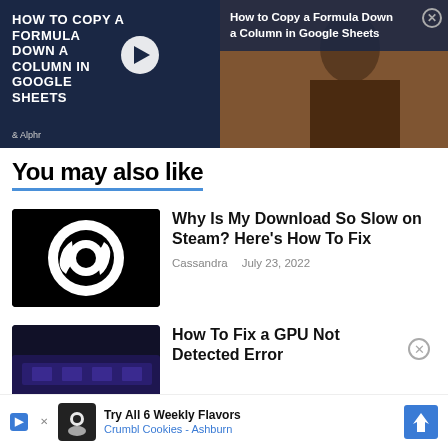[Figure (screenshot): Ad banner for 'How to Copy a Formula Down a Column in Google Sheets' with dark navy background, video thumbnail with a woman at a laptop, play button, and Alphr branding]
You may also like
[Figure (screenshot): Steam logo (white on black background) — article thumbnail for Steam download speed article]
Why Is My Download So Slow on Steam? Here's How To Fix
Cassandra    July 23, 2022
[Figure (photo): GPU/graphics card photo with dark purple and red lighting — article thumbnail for GPU not detected error article]
How To Fix a GPU Not Detected Error
[Figure (screenshot): Bottom ad banner: Try All 6 Weekly Flavors Crumbl Cookies - Ashburn]